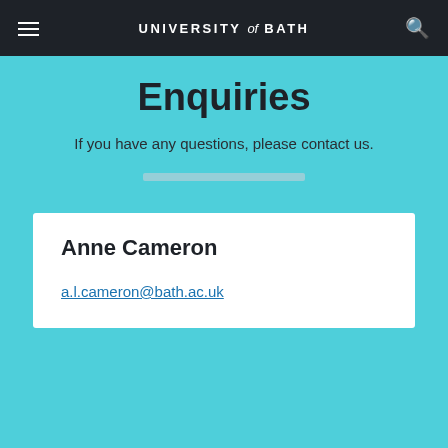UNIVERSITY of BATH
Enquiries
If you have any questions, please contact us.
Anne Cameron
a.l.cameron@bath.ac.uk